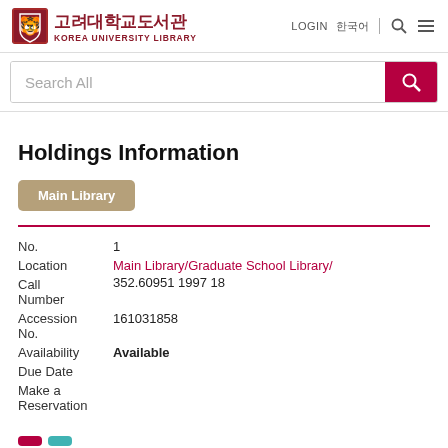[Figure (logo): Korea University Library logo with shield icon and Korean/English text]
LOGIN 한국어
Search All
Holdings Information
Main Library
| Field | Value |
| --- | --- |
| No. | 1 |
| Location | Main Library/Graduate School Library/ |
| Call Number | 352.60951 1997 18 |
| Accession No. | 161031858 |
| Availability | Available |
| Due Date |  |
| Make a Reservation |  |